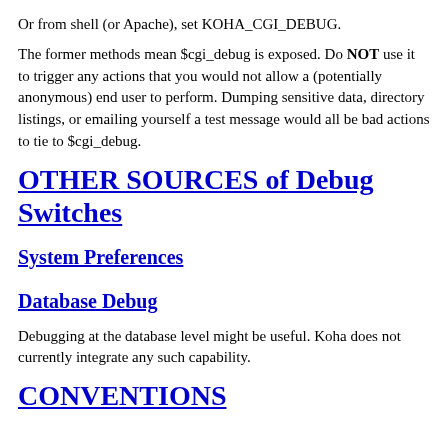Or from shell (or Apache), set KOHA_CGI_DEBUG.
The former methods mean $cgi_debug is exposed. Do NOT use it to trigger any actions that you would not allow a (potentially anonymous) end user to perform. Dumping sensitive data, directory listings, or emailing yourself a test message would all be bad actions to tie to $cgi_debug.
OTHER SOURCES of Debug Switches
System Preferences
Database Debug
Debugging at the database level might be useful. Koha does not currently integrate any such capability.
CONVENTIONS